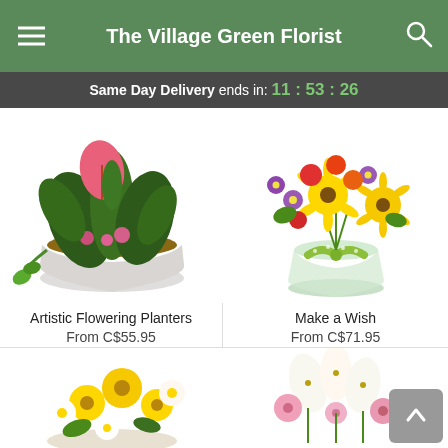The Village Green Florist
Same Day Delivery ends in: 11 : 53 : 26
[Figure (photo): Photo of Artistic Flowering Planters arrangement in a white bowl with pink anthurium, green leaves, ivy, and pink flowers]
Artistic Flowering Planters
From C$55.95
[Figure (photo): Photo of Make a Wish bouquet with yellow sunflowers, purple asters, red and orange carnations in a clear glass vase with green ribbon]
Make a Wish
From C$71.95
[Figure (photo): Photo of yellow daisy and white flower arrangement (partially visible at bottom)]
[Figure (photo): Photo of white lily and pink flower arrangement (partially visible at bottom)]